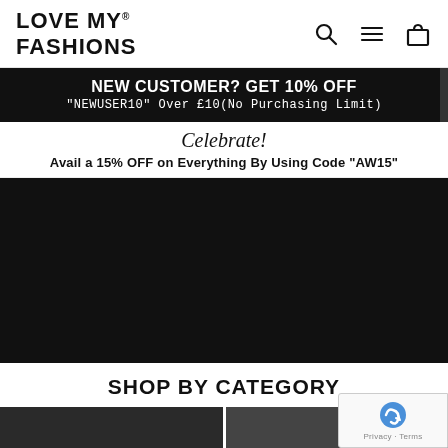LOVE MY® FASHIONS
NEW CUSTOMER? GET 10% OFF
"NEWUSER10" Over £10(No Purchasing Limit)
Celebrate!
Avail a 15% OFF on Everything By Using Code "AW15"
[Figure (photo): Dark/black hero banner image area]
SHOP BY CATEGORY
[Figure (photo): Two category images partially visible at bottom of page]